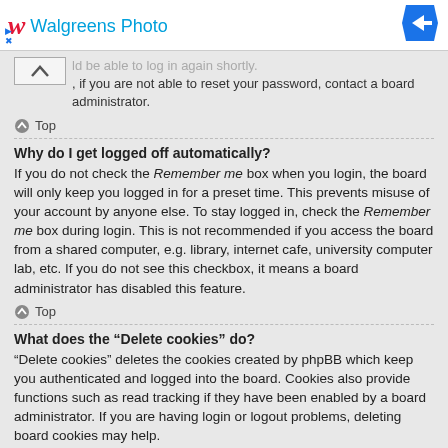[Figure (screenshot): Walgreens Photo advertisement banner with red cursive W logo, blue text 'Walgreens Photo', and a blue diamond arrow icon on the right]
ld be able to log in again shortly. , if you are not able to reset your password, contact a board administrator.
Top
Why do I get logged off automatically?
If you do not check the Remember me box when you login, the board will only keep you logged in for a preset time. This prevents misuse of your account by anyone else. To stay logged in, check the Remember me box during login. This is not recommended if you access the board from a shared computer, e.g. library, internet cafe, university computer lab, etc. If you do not see this checkbox, it means a board administrator has disabled this feature.
Top
What does the “Delete cookies” do?
“Delete cookies” deletes the cookies created by phpBB which keep you authenticated and logged into the board. Cookies also provide functions such as read tracking if they have been enabled by a board administrator. If you are having login or logout problems, deleting board cookies may help.
Top